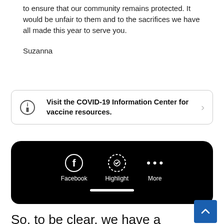to ensure that our community remains protected. It would be unfair to them and to the sacrifices we have all made this year to serve you.
Suzanna
[Figure (screenshot): A banner with an info (i) icon reading 'Visit the COVID-19 Information Center for vaccine resources.' with a right-arrow chevron.]
[Figure (screenshot): Dark/black bottom bar of a smartphone screen showing Facebook, Highlight, and More icons with a home indicator bar.]
So, to be clear, we have a registered Democrat unwilling to “serve” a Black conservative because of a perception that